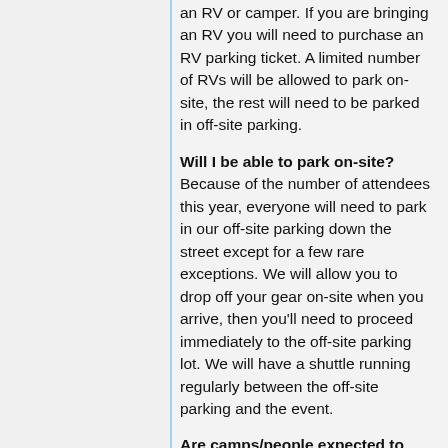an RV or camper. If you are bringing an RV you will need to purchase an RV parking ticket. A limited number of RVs will be allowed to park on-site, the rest will need to be parked in off-site parking.
Will I be able to park on-site? Because of the number of attendees this year, everyone will need to park in our off-site parking down the street except for a few rare exceptions. We will allow you to drop off your gear on-site when you arrive, then you'll need to proceed immediately to the off-site parking lot. We will have a shuttle running regularly between the off-site parking and the event.
Are camps/people expected to pack out their own trash, or will there be dumpsters with scheduled pickup provided where trash can be